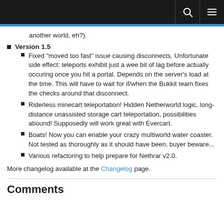another world, eh?).
Version 1.5
Fixed "moved too fast" issue causing disconnects. Unfortunate side effect: teleports exhibit just a wee bit of lag before actually occuring once you hit a portal. Depends on the server's load at the time. This will have to wait for if/when the Bukkit team fixes the checks around that disconnect.
Riderless minecart teleportation! Hidden Netherworld logic, long-distance unassisted storage cart teleportation, possibilities abound! Supposedly will work great with Evercart.
Boats! Now you can enable your crazy multiworld water coaster. Not tested as thoroughly as it should have been, buyer beware...
Various refactoring to help prepare for Nethrar v2.0.
More changelog available at the Changelog page.
Comments